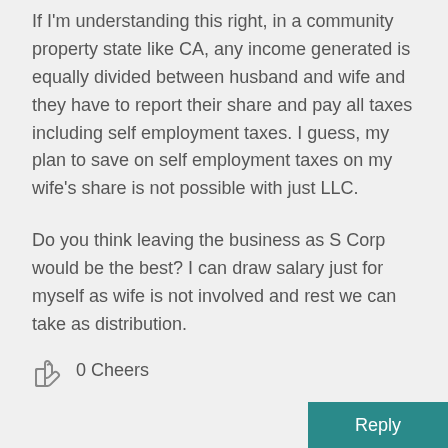If I'm understanding this right, in a community property state like CA, any income generated is equally divided between husband and wife and they have to report their share and pay all taxes including self employment taxes. I guess, my plan to save on self employment taxes on my wife's share is not possible with just LLC.
Do you think leaving the business as S Corp would be the best? I can draw salary just for myself as wife is not involved and rest we can take as distribution.
0 Cheers